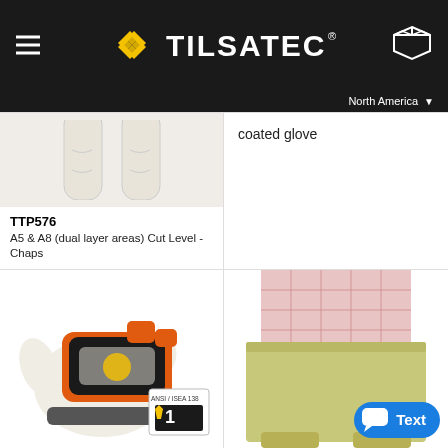[Figure (logo): Tilsatec logo with yellow geometric icon and white text on black header bar, with hamburger menu icon on left and box/package icon on right]
North America
[Figure (photo): Partial photo of white/cream protective chaps product, cut off at top]
coated glove
TTP576
A5 & A8 (dual layer areas) Cut Level - Chaps
[Figure (photo): Impact-resistant work gloves with orange and black accents, with ANSI/ISEA 138 Level 1 certification badge]
[Figure (photo): Person wearing olive/khaki protective half-apron over plaid shirt]
[Figure (other): Blue chat/text button overlay in bottom right corner]